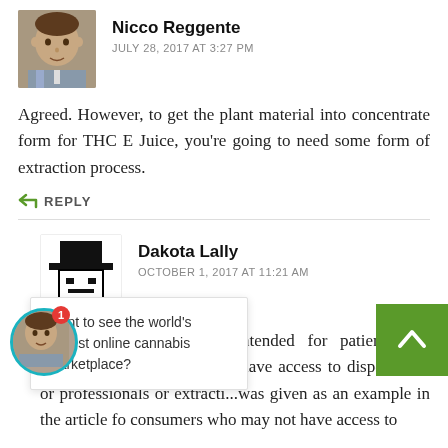[Figure (photo): Avatar photo of Nicco Reggente, a man in a plaid shirt]
Nicco Reggente
JULY 28, 2017 AT 3:27 PM
Agreed. However, to get the plant material into concentrate form for THC E Juice, you're going to need some form of extraction process.
↩ REPLY
[Figure (illustration): Avatar illustration of Dakota Lally, a cartoon figure with top hat]
Dakota Lally
OCTOBER 1, 2017 AT 11:21 AM
I believe this article is intended for patients and recreational consumers who have access to dispensaries or professionals or extraction...was given as an example in the article for consumers who may not have access to
Want to see the world's largest online cannabis marketplace?